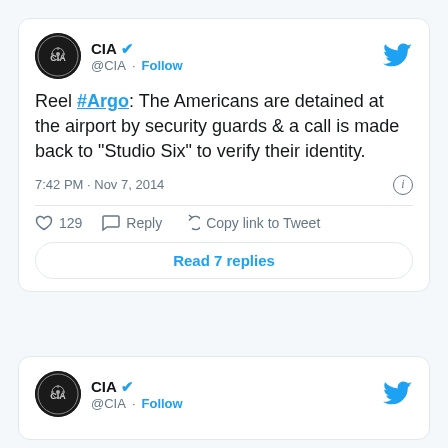[Figure (screenshot): Tweet from @CIA with verified badge showing text about Reel #Argo, posted Nov 7 2014 at 7:42 PM, with 129 likes]
[Figure (screenshot): Second tweet card header from @CIA with verified badge and Follow link, partially visible]